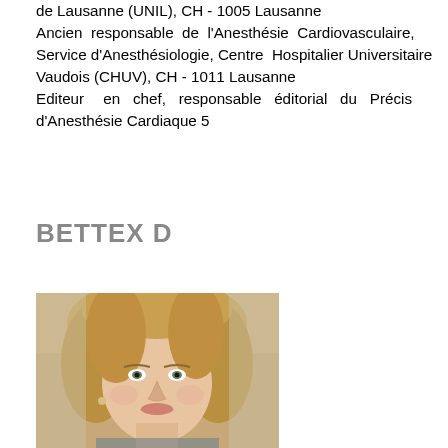de Lausanne (UNIL), CH - 1005 Lausanne Ancien responsable de l'Anesthésie Cardiovasculaire, Service d'Anesthésiologie, Centre Hospitalier Universitaire Vaudois (CHUV), CH - 1011 Lausanne Editeur en chef, responsable éditorial du Précis d'Anesthésie Cardiaque 5
BETTEX D
[Figure (photo): Portrait photo of a woman with blonde hair]